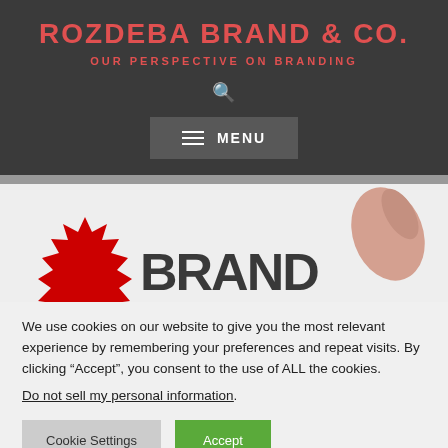ROZDEBA BRAND & CO.
OUR PERSPECTIVE ON BRANDING
[Figure (screenshot): Website header with search icon and MENU button on dark background]
[Figure (photo): Partial view of a branding/stamp graphic and a hand holding a pen on white background]
We use cookies on our website to give you the most relevant experience by remembering your preferences and repeat visits. By clicking "Accept", you consent to the use of ALL the cookies. Do not sell my personal information.
Cookie Settings   Accept